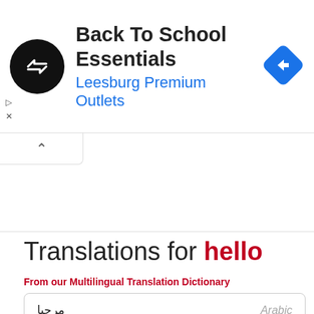[Figure (screenshot): Advertisement banner for 'Back To School Essentials – Leesburg Premium Outlets' with a black circular logo with arrows and a blue diamond navigation icon.]
Translations for hello
From our Multilingual Translation Dictionary
| Translation | Language |
| --- | --- |
| مرحبا | Arabic |
| Dobrý den, | Czech |
| hej | Danish |
| Hallo | German |